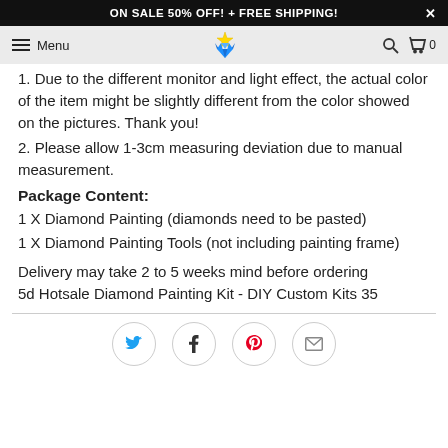ON SALE 50% OFF! + FREE SHIPPING!
[Figure (screenshot): Navigation bar with hamburger menu, Menu text, diamond gem logo with crown, search icon, and cart icon with 0 count]
1. Due to the different monitor and light effect, the actual color of the item might be slightly different from the color showed on the pictures. Thank you!
2. Please allow 1-3cm measuring deviation due to manual measurement.
Package Content:
1 X Diamond Painting (diamonds need to be pasted)
1 X Diamond Painting Tools (not including painting frame)
Delivery may take 2 to 5 weeks mind before ordering
5d Hotsale Diamond Painting Kit - DIY Custom Kits 35
[Figure (infographic): Social share buttons: Twitter (blue bird icon), Facebook (f icon), Pinterest (P icon in red), Email (envelope icon)]